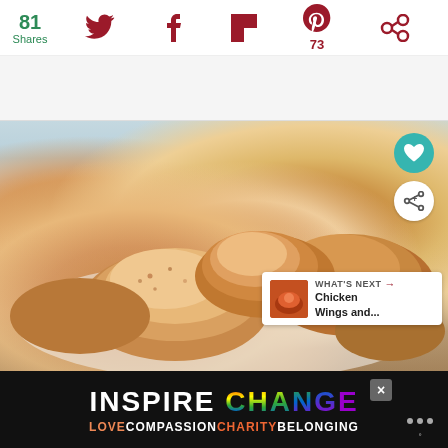81 Shares | Social share icons: Twitter, Facebook, Flipboard, Pinterest (73), Other
[Figure (photo): Photograph of baked or roasted chicken wings on a white plate, golden-brown and seasoned, on a light blue/grey background. Heart button (teal) and share button (white) overlaid top-right. 'What's Next' card bottom-right showing chicken wings thumbnail.]
WHAT'S NEXT → Chicken Wings and...
INSPIRE CHANGE
LOVE COMPASSION CHARITY BELONGING